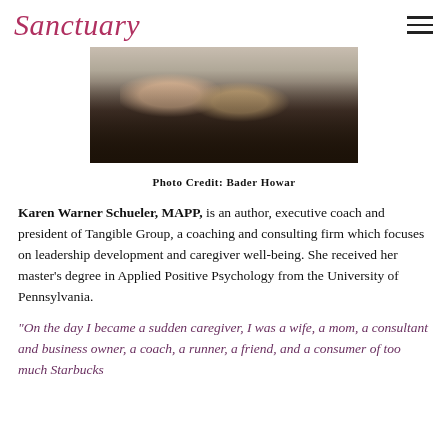Sanctuary
[Figure (photo): Partial photo showing hands/torso of a person wearing black, cropped at bottom of image frame]
Photo Credit: Bader Howar
Karen Warner Schueler, MAPP, is an author, executive coach and president of Tangible Group, a coaching and consulting firm which focuses on leadership development and caregiver well-being. She received her master's degree in Applied Positive Psychology from the University of Pennsylvania.
"On the day I became a sudden caregiver, I was a wife, a mom, a consultant and business owner, a coach, a runner, a friend, and a consumer of too much Starbucks